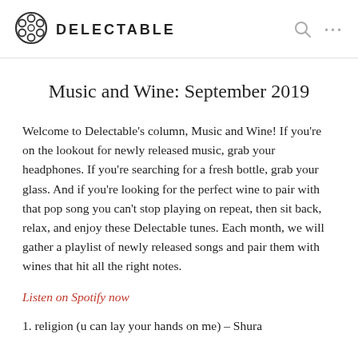DELECTABLE
Music and Wine: September 2019
Welcome to Delectable's column, Music and Wine! If you're on the lookout for newly released music, grab your headphones. If you're searching for a fresh bottle, grab your glass. And if you're looking for the perfect wine to pair with that pop song you can't stop playing on repeat, then sit back, relax, and enjoy these Delectable tunes. Each month, we will gather a playlist of newly released songs and pair them with wines that hit all the right notes.
Listen on Spotify now
1. religion (u can lay your hands on me) – Shura